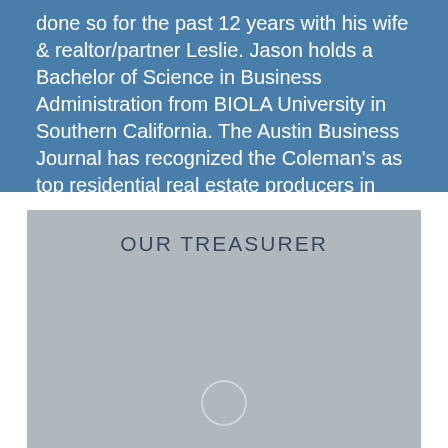done so for the past 12 years with his wife & realtor/partner Leslie. Jason holds a Bachelor of Science in Business Administration from BIOLA University in Southern California. The Austin Business Journal has recognized the Coleman's as top residential real estate producers in 2009, 2011 and 2012.
OUR TREASURER
[Figure (photo): Gray placeholder image area for treasurer photo with a circular loading/placeholder indicator at the bottom center]